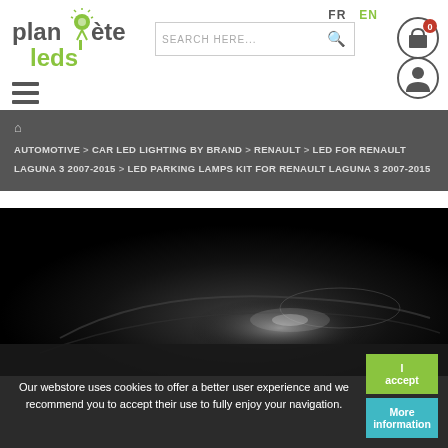[Figure (logo): Planète LEDs logo with green LED pin graphic and green 'leds' text]
FR   EN
[Figure (screenshot): Search bar with placeholder 'SEARCH HERE...' and a magnifying glass icon]
[Figure (screenshot): Shopping cart icon with badge showing '0' and user/account circle icon]
[Figure (screenshot): Hamburger menu icon (three horizontal lines)]
🏠 AUTOMOTIVE > CAR LED LIGHTING BY BRAND > RENAULT > LED FOR RENAULT LAGUNA 3 2007-2015 > LED PARKING LAMPS KIT FOR RENAULT LAGUNA 3 2007-2015
[Figure (photo): Dark product photo showing LED parking lamp light effect on a car]
Our webstore uses cookies to offer a better user experience and we recommend you to accept their use to fully enjoy your navigation.
I accept
More information